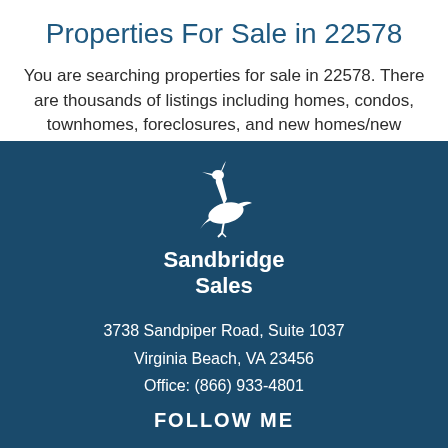Properties For Sale in 22578
You are searching properties for sale in 22578. There are thousands of listings including homes, condos, townhomes, foreclosures, and new homes/new construction. View information about public schools and private schools serving in 22578, plus reference community statistics and demographics.
[Figure (logo): Sandbridge Sales heron bird logo in white on dark blue background]
3738 Sandpiper Road, Suite 1037
Virginia Beach, VA 23456
Office: (866) 933-4801
FOLLOW ME